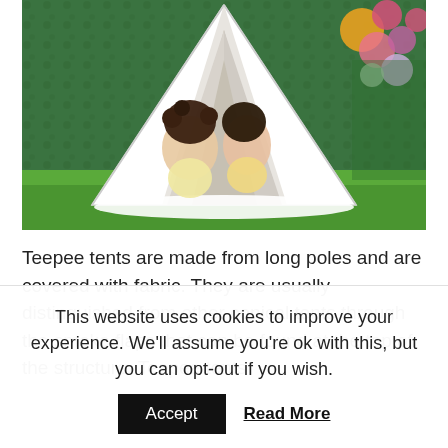[Figure (photo): Two young girls sitting inside a white teepee tent on a green grass lawn, with a hedge wall background and colorful flowers on the right side.]
Teepee tents are made from long poles and are covered with fabric. They are usually distinguished from other conical tents through the smoke flaps that can be found at the top of the structure. Teepee tents
This website uses cookies to improve your experience. We'll assume you're ok with this, but you can opt-out if you wish.